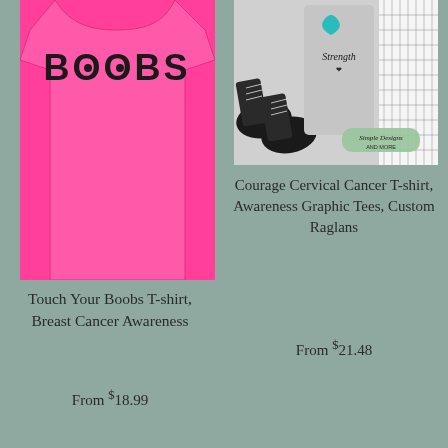[Figure (photo): Pink t-shirt with text 'BOOBS' printed on it, worn by a person, hot pink color]
Touch Your Boobs T-shirt, Breast Cancer Awareness
From $18.99
[Figure (photo): Gray t-shirt with cervical cancer awareness graphic including teal ribbon and text 'Strength', shown with black sneakers and plaid shirt, Simple Designs and More branding badge]
Courage Cervical Cancer T-shirt, Awareness Graphic Tees, Custom Raglans
From $21.48